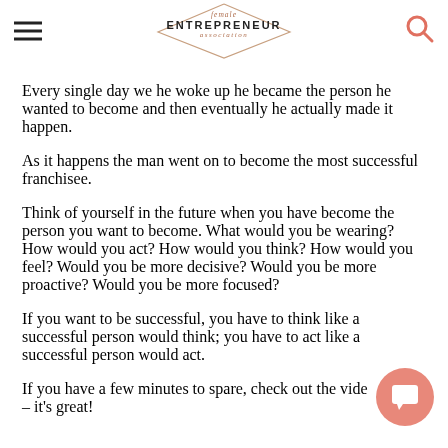female ENTREPRENEUR association
Every single day we he woke up he became the person he wanted to become and then eventually he actually made it happen.
As it happens the man went on to become the most successful franchisee.
Think of yourself in the future when you have become the person you want to become. What would you be wearing? How would you act? How would you think? How would you feel? Would you be more decisive? Would you be more proactive? Would you be more focused?
If you want to be successful, you have to think like a successful person would think; you have to act like a successful person would act.
If you have a few minutes to spare, check out the vide – it's great!